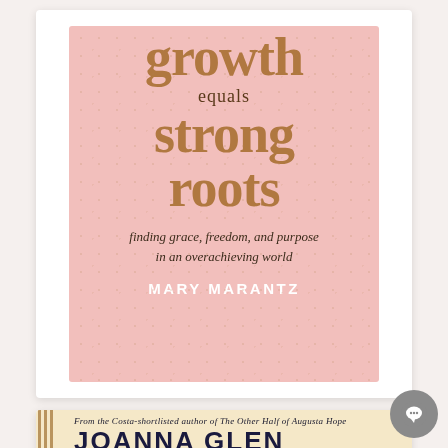[Figure (photo): Book cover for 'growth equals strong roots: finding grace, freedom, and purpose in an overachieving world' by Mary Marantz. Pink background with gold/bronze serif title text and white author name.]
[Figure (photo): Partial book cover for a book by Joanna Glen. Subtitle reads 'From the Costa-shortlisted author of The Other Half of Augusta Hope'. Cream/beige background with dark navy author name in large bold caps. Partial view, cut off at bottom.]